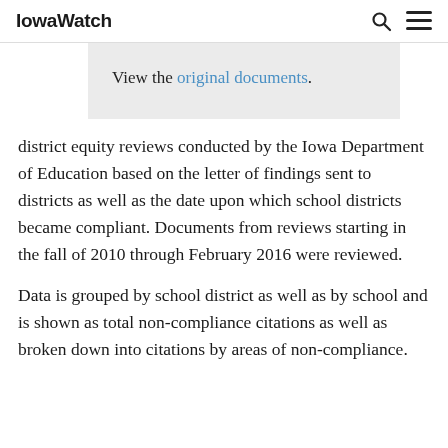IowaWatch
View the original documents.
district equity reviews conducted by the Iowa Department of Education based on the letter of findings sent to districts as well as the date upon which school districts became compliant. Documents from reviews starting in the fall of 2010 through February 2016 were reviewed.
Data is grouped by school district as well as by school and is shown as total non-compliance citations as well as broken down into citations by areas of non-compliance.